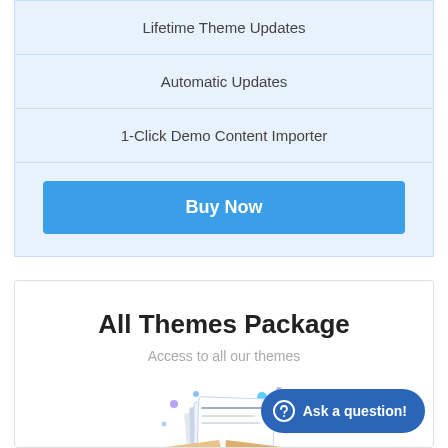Lifetime Theme Updates
Automatic Updates
1-Click Demo Content Importer
Buy Now
All Themes Package
Access to all our themes
[Figure (illustration): Open cardboard box with floating document/theme icons and decorative dots above it]
Ask a question!